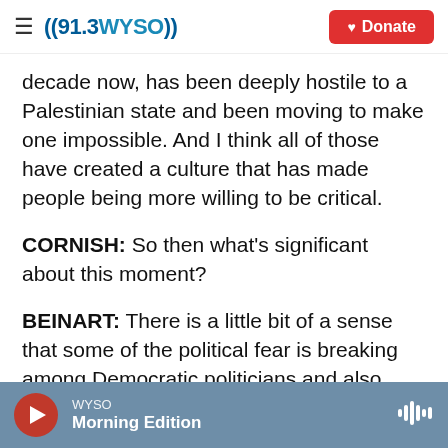((91.3WYSO)) Donate
decade now, has been deeply hostile to a Palestinian state and been moving to make one impossible. And I think all of those have created a culture that has made people being more willing to be critical.
CORNISH: So then what's significant about this moment?
BEINART: There is a little bit of a sense that some of the political fear is breaking among Democratic politicians and also about others who have - you know, commentators in the media who've avoided
WYSO Morning Edition